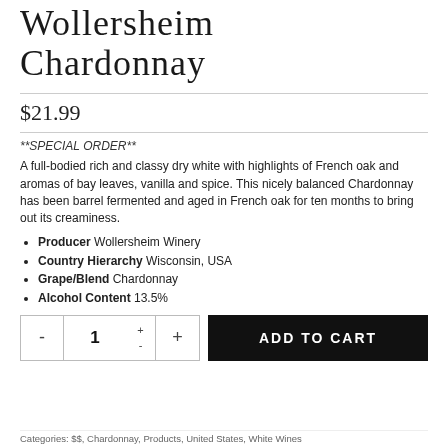Wollersheim Chardonnay
$21.99
**SPECIAL ORDER**
A full-bodied rich and classy dry white with highlights of French oak and aromas of bay leaves, vanilla and spice. This nicely balanced Chardonnay has been barrel fermented and aged in French oak for ten months to bring out its creaminess.
Producer Wollersheim Winery
Country Hierarchy Wisconsin, USA
Grape/Blend Chardonnay
Alcohol Content 13.5%
Categories: $$, Chardonnay, Products, United States, White Wines